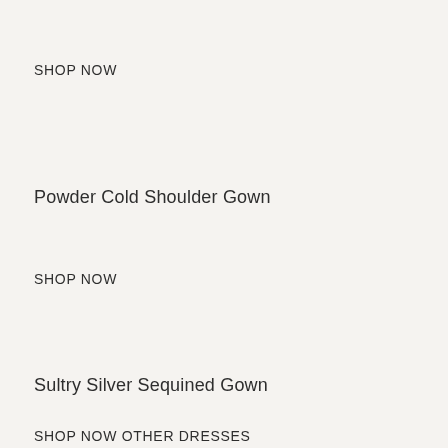SHOP NOW
Powder Cold Shoulder Gown
SHOP NOW
Sultry Silver Sequined Gown
SHOP NOW OTHER DRESSES